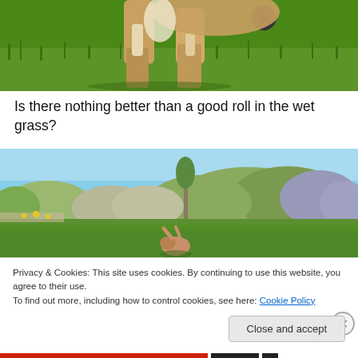[Figure (photo): Close-up of a dog's legs and lower body walking on green grass, with a GPS tracker or device visible on its collar/body.]
Is there nothing better than a good roll in the wet grass?
[Figure (photo): A dog rolling in a manicured grass lawn with ornamental shrubs and trees in the background under a blue sky.]
Privacy & Cookies: This site uses cookies. By continuing to use this website, you agree to their use.
To find out more, including how to control cookies, see here: Cookie Policy